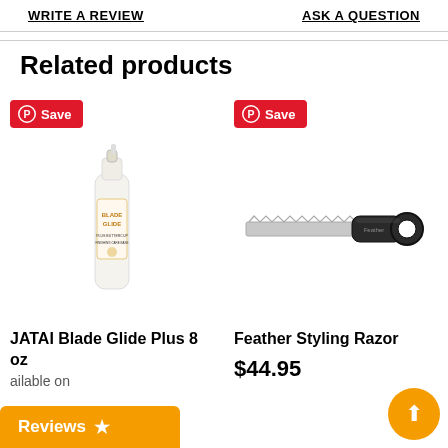WRITE A REVIEW | ASK A QUESTION
Related products
[Figure (photo): JATAI Blade Glide Plus 8 oz product bottle, white spray bottle with orange label]
JATAI Blade Glide Plus 8 oz
ailable on
[Figure (photo): Feather Styling Razor, silver blade with black handle and ring grip]
Feather Styling Razor
$44.95